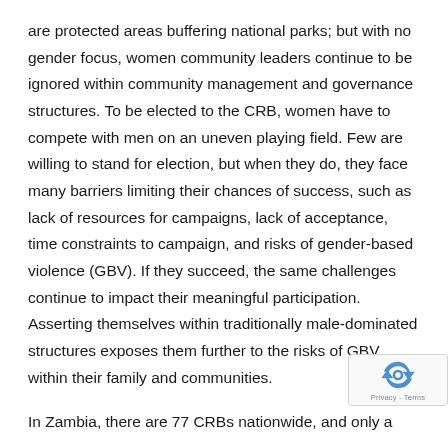are protected areas buffering national parks; but with no gender focus, women community leaders continue to be ignored within community management and governance structures. To be elected to the CRB, women have to compete with men on an uneven playing field. Few are willing to stand for election, but when they do, they face many barriers limiting their chances of success, such as lack of resources for campaigns, lack of acceptance, time constraints to campaign, and risks of gender-based violence (GBV). If they succeed, the same challenges continue to impact their meaningful participation. Asserting themselves within traditionally male-dominated structures exposes them further to the risks of GBV within their family and communities.
In Zambia, there are 77 CRBs nationwide, and only a
[Figure (other): reCAPTCHA badge with Privacy - Terms text]